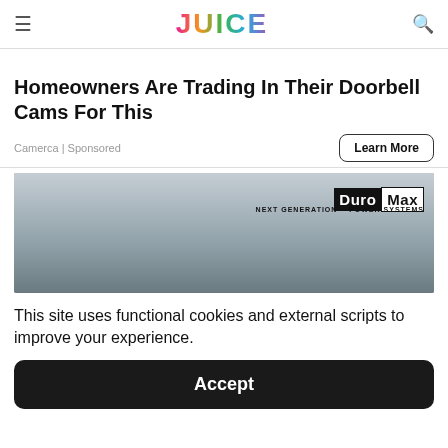≡ JUICE 🔍
Homeowners Are Trading In Their Doorbell Cams For This
Camerca | Sponsored
[Figure (photo): Person leaning over a DuroMax XP13000HX generator, with DuroMax Next Generation Power Systems logo visible in upper right]
This site uses functional cookies and external scripts to improve your experience.
Accept